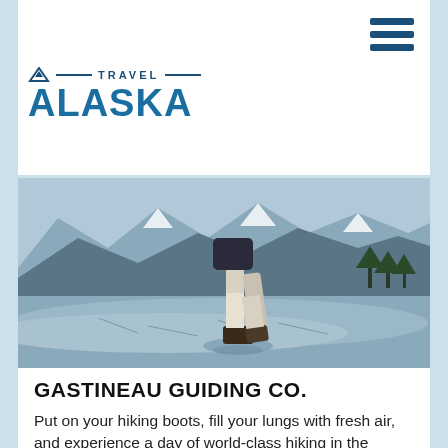[Figure (logo): Travel Alaska logo with mountain icon, horizontal lines, and bold blue ALASKA text]
[Figure (photo): Person hiking/wading through icy water or glacier with mountains and snow in background, Tongass National Rainforest area, Alaska]
GASTINEAU GUIDING CO.
Put on your hiking boots, fill your lungs with fresh air, and experience a day of world-class hiking in the Tongass National Rainforest. The pace...